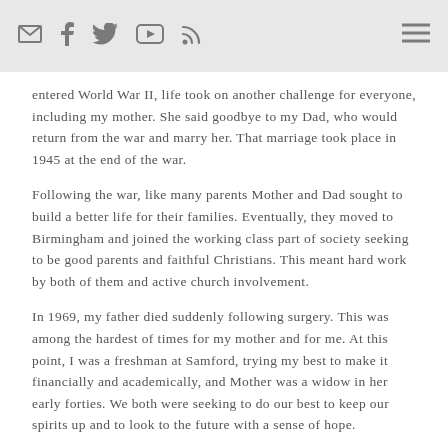social media icons: email, facebook, twitter, youtube, rss | hamburger menu
entered World War II, life took on another challenge for everyone, including my mother. She said goodbye to my Dad, who would return from the war and marry her. That marriage took place in 1945 at the end of the war.
Following the war, like many parents Mother and Dad sought to build a better life for their families. Eventually, they moved to Birmingham and joined the working class part of society seeking to be good parents and faithful Christians. This meant hard work by both of them and active church involvement.
In 1969, my father died suddenly following surgery. This was among the hardest of times for my mother and for me. At this point, I was a freshman at Samford, trying my best to make it financially and academically, and Mother was a widow in her early forties. We both were seeking to do our best to keep our spirits up and to look to the future with a sense of hope.
Three years following my father's death, my mother